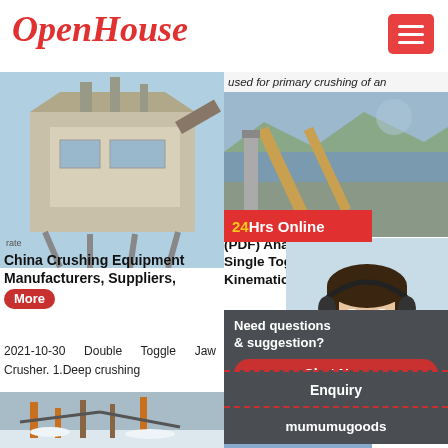OpenHouse
[Figure (screenshot): Crushing/screening equipment machinery photo - left top]
rate
China Crushing Equipment Manufacturers, Suppliers, More
2021-10-30 Double Toggle Jaw Crusher. 1.Deep crushing
[Figure (screenshot): Industrial jaw crusher site photo - left bottom]
used for primary crushing of an
[Figure (screenshot): Mining/crushing plant photo - right top]
24Hrs Online
[Figure (photo): Customer service agent woman with headset]
(PDF) Anal Single Togg Kinematics
single toggle j those of the
Need questions & suggestion?
Chat Now
Enquiry
mumumugoods
[Figure (photo): Crushing site in winter/cold weather - right bottom]